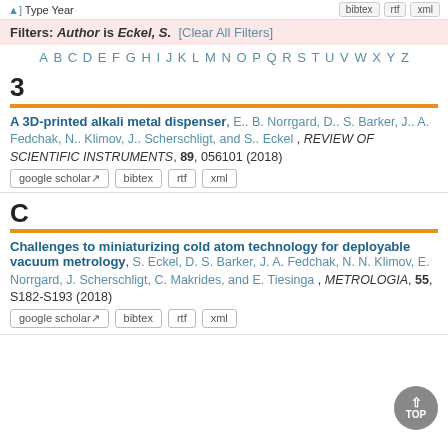] Type Year   bibtex   rtf   xml
Filters: Author is Eckel, S.  [Clear All Filters]
A B C D E F G H I J K L M N O P Q R S T U V W X Y Z
3
A 3D-printed alkali metal dispenser, E.. B. Norrgard, D.. S. Barker, J.. A. Fedchak, N.. Klimov, J.. Scherschligt, and S.. Eckel , REVIEW OF SCIENTIFIC INSTRUMENTS, 89, 056101 (2018)
google scholar  bibtex  rtf  xml
C
Challenges to miniaturizing cold atom technology for deployable vacuum metrology, S. Eckel, D. S. Barker, J. A. Fedchak, N. N. Klimov, E. Norrgard, J. Scherschligt, C. Makrides, and E. Tiesinga , METROLOGIA, 55, S182-S193 (2018)
google scholar  bibtex  rtf  xml